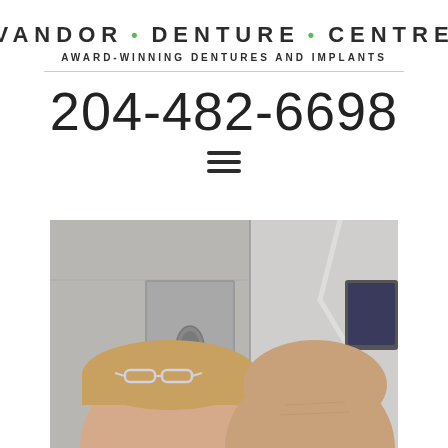VANDOR • DENTURE • CENTRE
AWARD-WINNING DENTURES AND IMPLANTS
204-482-6698
[Figure (photo): A selfie photo of two people (one younger with light brown hair and glasses on head, one older and bald) taken inside a dental office room with gray walls, a cabinet with oval handle, and a white dental lamp in the background.]